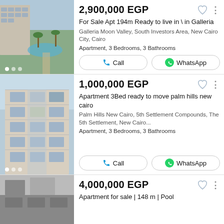[Figure (photo): Apartment complex with pool, palm trees and landscaped gardens]
2,900,000 EGP
For Sale Apt 194m Ready to live in \ in Galleria
Galleria Moon Valley, South Investors Area, New Cairo City, Cairo
Apartment, 3 Bedrooms, 3 Bathrooms
[Figure (photo): Modern apartment building facade with balconies and glass panels]
1,000,000 EGP
Apartment 3Bed ready to move palm hills new cairo
Palm Hills New Cairo, 5th Settlement Compounds, The 5th Settlement, New Cairo...
Apartment, 3 Bedrooms, 3 Bathrooms
[Figure (photo): Apartment building exterior partial view]
4,000,000 EGP
Apartment for sale | 148 m | Pool